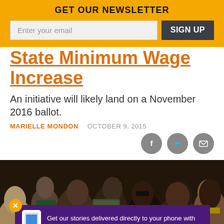GET OUR NEWSLETTER
State Minimum Wage Increase
An initiative will likely land on a November 2016 ballot.
MARIELLE MONDON   OCTOBER 9, 2015
[Figure (photo): Crowd of people at a rally or event, some holding dollar bills, wearing green and yellow clothing]
Get our stories delivered directly to your phone with the NEW Next City app!